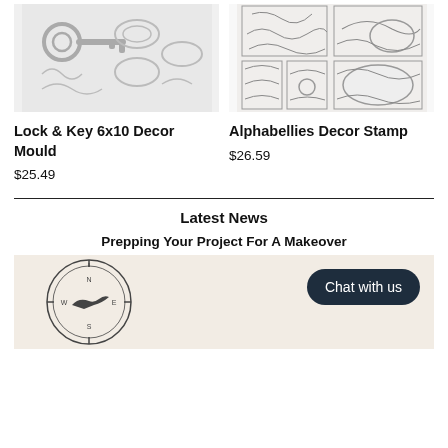[Figure (photo): Lock & Key 6x10 Decor Mould product image showing decorative key and ornamental designs in silver/grey tones]
Lock & Key 6x10 Decor Mould
$25.49
[Figure (photo): Alphabellies Decor Stamp product image showing ornate floral and scroll patterns in black and white]
Alphabellies Decor Stamp
$26.59
Latest News
Prepping Your Project For A Makeover
[Figure (photo): Beige/cream background image with a circular compass/bird logo on the left and a 'Chat with us' dark button overlay on the right]